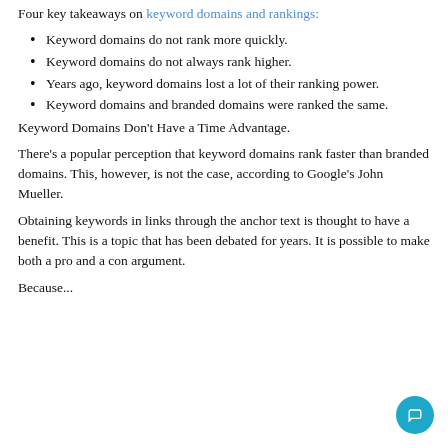Four key takeaways on keyword domains and rankings:
Keyword domains do not rank more quickly.
Keyword domains do not always rank higher.
Years ago, keyword domains lost a lot of their ranking power.
Keyword domains and branded domains were ranked the same.
Keyword Domains Don't Have a Time Advantage.
There's a popular perception that keyword domains rank faster than branded domains. This, however, is not the case, according to Google's John Mueller.
Obtaining keywords in links through the anchor text is thought to have a benefit. This is a topic that has been debated for years. It is possible to make both a pro and a con argument.
Because...